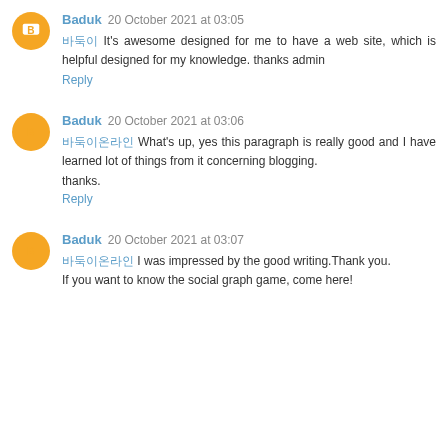Baduk 20 October 2021 at 03:05 — 바둑이 It's awesome designed for me to have a web site, which is helpful designed for my knowledge. thanks admin — Reply
Baduk 20 October 2021 at 03:06 — 바둑이온라인 What's up, yes this paragraph is really good and I have learned lot of things from it concerning blogging. thanks. — Reply
Baduk 20 October 2021 at 03:07 — 바둑이온라인 I was impressed by the good writing.Thank you. If you want to know the social graph game, come here!